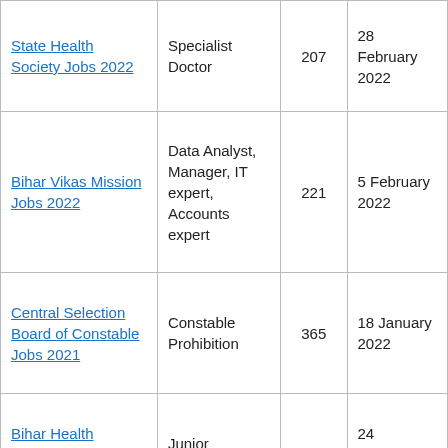| State Health Society Jobs 2022 | Specialist Doctor | 207 | 28 February 2022 |
| Bihar Vikas Mission Jobs 2022 | Data Analyst, Manager, IT expert, Accounts expert | 221 | 5 February 2022 |
| Central Selection Board of Constable Jobs 2021 | Constable Prohibition | 365 | 18 January 2022 |
| Bihar Health Department Jobs 2021 | Junior Resident | 1062 | 24 December 2021 |